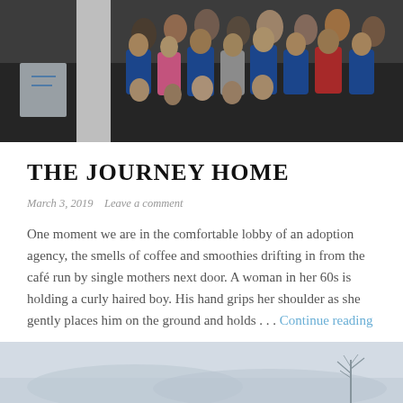[Figure (photo): Group photo of many adults and children in a lobby or event space, some wearing blue t-shirts, standing together for a group photo.]
THE JOURNEY HOME
March 3, 2019   Leave a comment
One moment we are in the comfortable lobby of an adoption agency, the smells of coffee and smoothies drifting in from the café run by single mothers next door. A woman in her 60s is holding a curly haired boy. His hand grips her shoulder as she gently places him on the ground and holds . . . Continue reading
[Figure (photo): Landscape photo showing a misty/foggy winter scene with bare trees and a city or town view in the distance.]